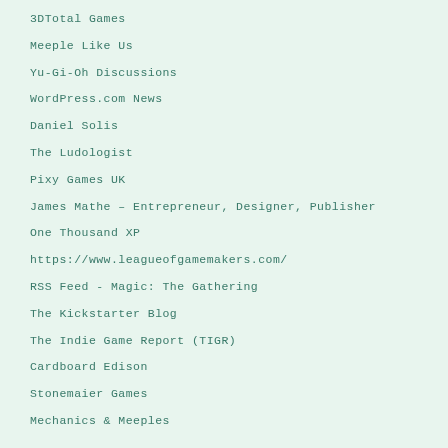3DTotal Games
Meeple Like Us
Yu-Gi-Oh Discussions
WordPress.com News
Daniel Solis
The Ludologist
Pixy Games UK
James Mathe – Entrepreneur, Designer, Publisher
One Thousand XP
https://www.leagueofgamemakers.com/
RSS Feed - Magic: The Gathering
The Kickstarter Blog
The Indie Game Report (TIGR)
Cardboard Edison
Stonemaier Games
Mechanics & Meeples